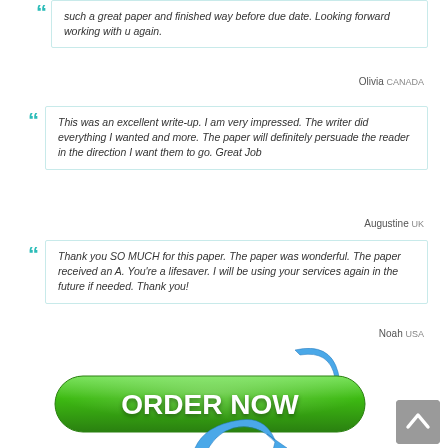such a great paper and finished way before due date. Looking forward working with u again.
Olivia Canada
This was an excellent write-up. I am very impressed. The writer did everything I wanted and more. The paper will definitely persuade the reader in the direction I want them to go. Great Job
Augustine UK
Thank you SO MUCH for this paper. The paper was wonderful. The paper received an A. You're a lifesaver. I will be using your services again in the future if needed. Thank you!
Noah USA
[Figure (illustration): Green rounded ORDER NOW button with blue arrows circling around it, and a grey back-to-top arrow button in the bottom right corner]